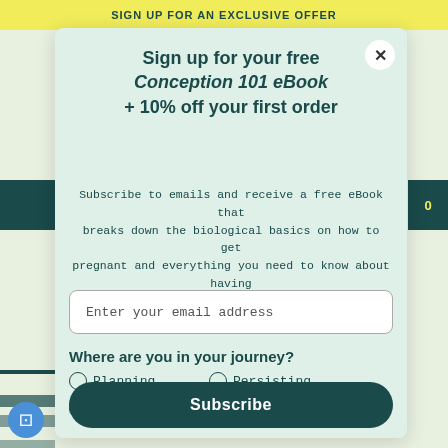SIGN UP FOR AN EXCLUSIVE OFFER
Sign up for your free Conception 101 eBook + 10% off your first order
Subscribe to emails and receive a free eBook that breaks down the biological basics on how to get pregnant and everything you need to know about having a baby.
Enter your email address
Where are you in your journey?
Planning
Persisting
Pregnant
Postpartum
Subscribe